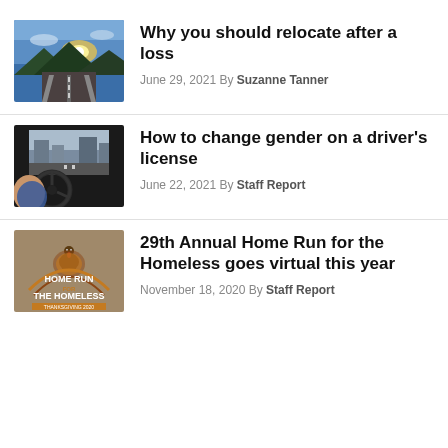[Figure (photo): Road curving into a sunset with mountains and clouds]
Why you should relocate after a loss
June 29, 2021 By Suzanne Tanner
[Figure (photo): View from inside a car, driver holding steering wheel, city street ahead]
How to change gender on a driver's license
June 22, 2021 By Staff Report
[Figure (logo): Home Run for the Homeless Thanksgiving 2020 logo on brown/tan background with turkey illustration]
29th Annual Home Run for the Homeless goes virtual this year
November 18, 2020 By Staff Report